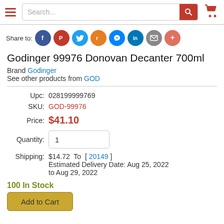Search...
[Figure (infographic): Social share icons row: Facebook, Pinterest, Twitter, Reddit, Messenger, LinkedIn, Email, More]
Godinger 99976 Donovan Decanter 700ml
Brand Godinger
See other products from GOD
| Field | Value |
| --- | --- |
| Upc: | 028199999769 |
| SKU: | GOD-99976 |
| Price: | $41.10 |
| Quantity: | 1 |
| Shipping: | $14.72  To  [ 20149 ]
Estimated Delivery Date: Aug 25, 2022 to Aug 29, 2022 |
100 In Stock
Add to Cart